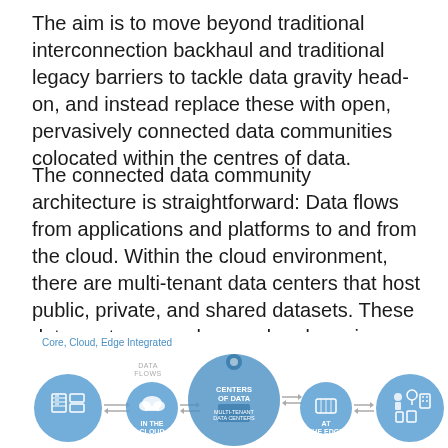The aim is to move beyond traditional interconnection backhaul and traditional legacy barriers to tackle data gravity head-on, and instead replace these with open, pervasively connected data communities colocated within the centres of data.
The connected data community architecture is straightforward: Data flows from applications and platforms to and from the cloud. Within the cloud environment, there are multi-tenant data centers that host public, private, and shared datasets. These data centers can also send and receive data to and from the edge environment, and from there the data makes its way to users, devices, and things.
[Figure (infographic): Diagram titled 'Core, Cloud, Edge Integrated' showing data flows from applications/platforms (icons on left), through a cloud circle labeled 'IN THE CLOUD', through a central large circle labeled 'CENTERS OF DATA' with 'MULTI-TENANT DATA CENTERS' inside, through a router icon labeled 'AT THE EDGE', to users/devices/things icons on the right. Double-headed arrows labeled 'DATA FLOWS' connect the elements.]